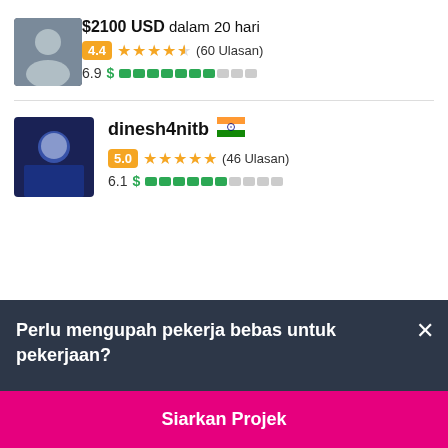$2100 USD dalam 20 hari
4.4 ★★★★½ (60 Ulasan) — 6.9 score
dinesh4nitb 🇮🇳
5.0 ★★★★★ (46 Ulasan) — 6.1 score
Perlu mengupah pekerja bebas untuk pekerjaan?
Siarkan Projek